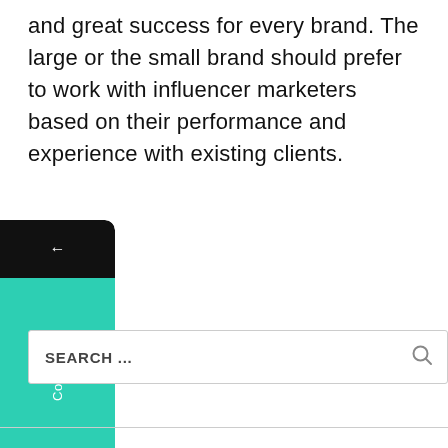and great success for every brand. The large or the small brand should prefer to work with influencer marketers based on their performance and experience with existing clients.
[Figure (other): Vertical sidebar widget with back arrow button (black), 'Contact Us' label and arrow (teal/cyan), and WhatsApp icon (green). The widget is positioned on the left side of the page.]
SEARCH ...